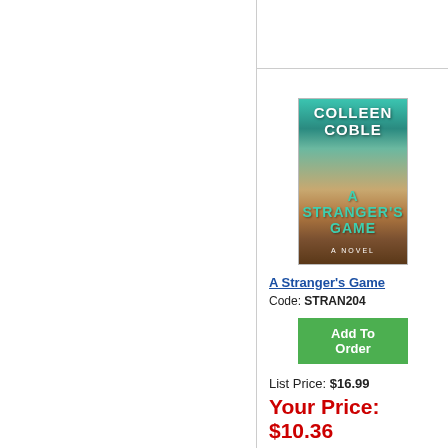[Figure (photo): Book cover for 'A Stranger's Game' by Colleen Coble — teal/beach background with a figure walking, title in teal letters]
A Stranger's Game
Code: STRAN204
Add To Order
List Price: $16.99
Your Price: $10.36
Savings: $6.63 (39%)